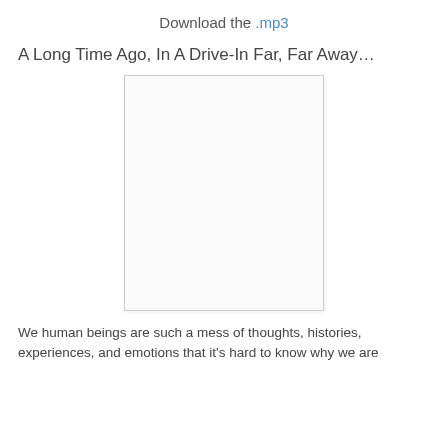Download the .mp3
A Long Time Ago, In A Drive-In Far, Far Away…
[Figure (other): A blank white rectangular image placeholder with a light gray border]
We human beings are such a mess of thoughts, histories, experiences, and emotions that it's hard to know why we are...